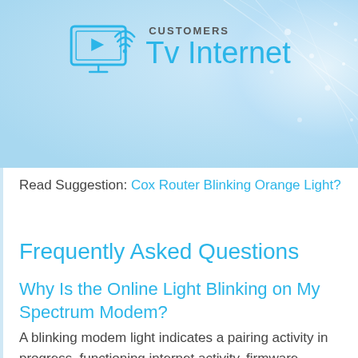[Figure (logo): Customers TV Internet logo with a TV/monitor icon showing a play button and wifi signal, followed by the text 'CUSTOMERS Tv Internet' in blue and gray]
Read Suggestion: Cox Router Blinking Orange Light?
Frequently Asked Questions
Why Is the Online Light Blinking on My Spectrum Modem?
A blinking modem light indicates a pairing activity in progress, functioning internet activity, firmware update, self-diagnosis, and in some cases, a failure to connect to the internet. A slower blinking indicates the beginning of a process whereas faster blinking light indicates the end of a process